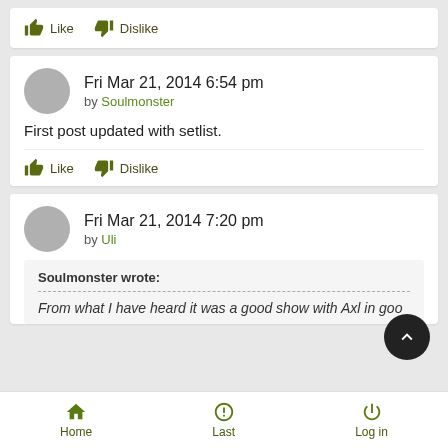Like   Dislike
Fri Mar 21, 2014 6:54 pm
by Soulmonster
First post updated with setlist.
Like   Dislike
Fri Mar 21, 2014 7:20 pm
by Uli
Soulmonster wrote:
From what I have heard it was a good show with Axl in goo...
Home   Last   Log in